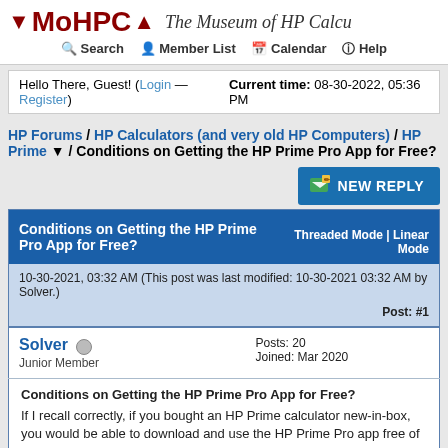MoHPC - The Museum of HP Calculators
Search | Member List | Calendar | Help
Hello There, Guest! (Login — Register)  Current time: 08-30-2022, 05:36 PM
HP Forums / HP Calculators (and very old HP Computers) / HP Prime ▼ / Conditions on Getting the HP Prime Pro App for Free?
NEW REPLY
Conditions on Getting the HP Prime Pro App for Free?  Threaded Mode | Linear Mode
10-30-2021, 03:32 AM (This post was last modified: 10-30-2021 03:32 AM by Solver.)
Post: #1
Solver  Junior Member   Posts: 20  Joined: Mar 2020
Conditions on Getting the HP Prime Pro App for Free?
If I recall correctly, if you bought an HP Prime calculator new-in-box, you would be able to download and use the HP Prime Pro app free of charge. Am I mistaken there or perhaps thinking of